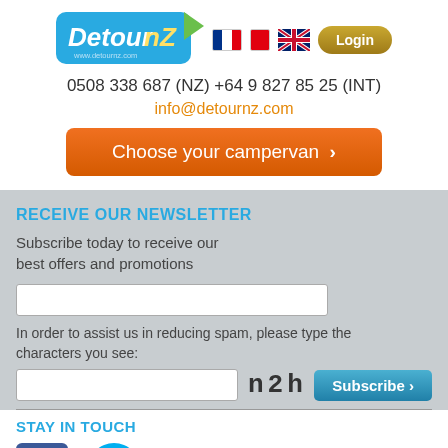[Figure (logo): DetourNZ logo with blue rounded rectangle background and yellow-green corner accent, showing www.detournz.com]
0508 338 687 (NZ) +64 9 827 85 25 (INT)
info@detournz.com
Choose your campervan >
RECEIVE OUR NEWSLETTER
Subscribe today to receive our best offers and promotions
In order to assist us in reducing spam, please type the characters you see:
n2h
Subscribe >
STAY IN TOUCH
[Figure (illustration): Facebook and Skype social media icons]